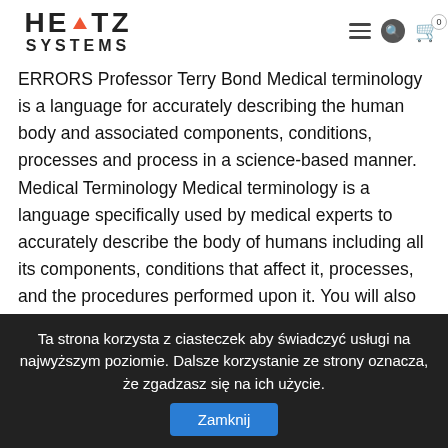HERTZ SYSTEMS [logo with navigation icons]
terminology across Medical terminology Essay sample. All people involved in the medical profession and curious patients should be conversant with these terminologies to be efficient. MEDICAL ERRORS Professor Terry Bond Medical terminology is a language for accurately describing the human body and associated components, conditions, processes and process in a science-based manner. Medical Terminology Medical terminology is a language specifically used by medical experts to accurately describe the body of humans including all its components, conditions that affect it, processes, and the procedures performed upon it. You will also be tested on information found in the topics below. 3  Pages. The terminology is spoken … medical terms. It is the basis for all that you will do. I will give examples of the importance of medical terminology and specific examples of where medical careers use medical terminology on a day to day basis. Then look no further. Motives Behind Medical Terminology The purpose of medical billing terminology is to provide
Ta strona korzysta z ciasteczek aby świadczyć usługi na najwyższym poziomie. Dalsze korzystanie ze strony oznacza, że zgadzasz się na ich użycie. Zamknij